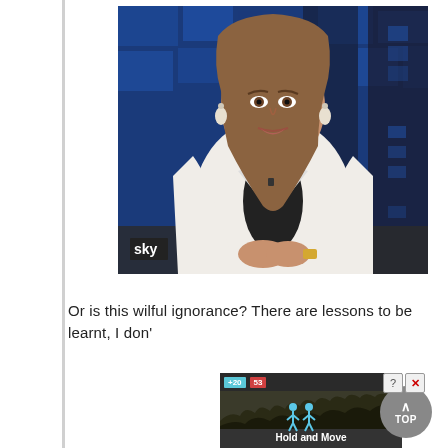[Figure (photo): A female news anchor in a white blazer with brown hair and teardrop earrings, sitting at a desk with hands clasped, appearing distressed or concerned. Blue geometric TV studio backdrop. Sky News logo visible at bottom left.]
Or is this wilful ignorance? There are lessons to be learnt, I don'
[Figure (screenshot): Partial advertisement overlay showing a mobile game or app called 'Hold and Move' with stick figure icons, a dark background with trees, and an ad timer bar showing +20 and 53 countdown.]